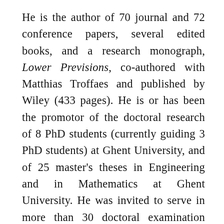He is the author of 70 journal and 72 conference papers, several edited books, and a research monograph, Lower Previsions, co-authored with Matthias Troffaes and published by Wiley (433 pages). He is or has been the promotor of the doctoral research of 8 PhD students (currently guiding 3 PhD students) at Ghent University, and of 25 master's theses in Engineering and in Mathematics at Ghent University. He was invited to serve in more than 30 doctoral examination committees at Ghent University and abroad. He has been involved in the organisation of more than 25 conferences, workshops and summer schools, served as a member of the programme